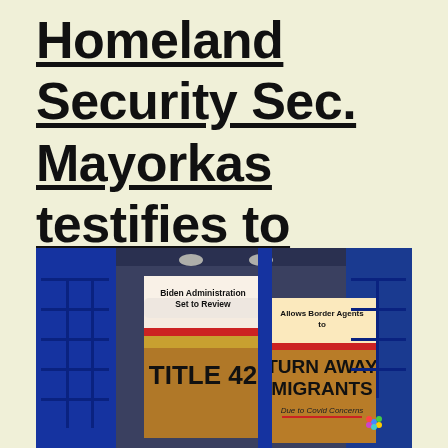Homeland Security Sec. Mayorkas testifies to Congress on border security
[Figure (photo): TV news studio screenshot showing two graphic panels. Left panel: 'Biden Administration Set to Review TITLE 42' over desert landscape. Right panel: 'Allows Border Agents to TURN AWAY MIGRANTS Due to Covid Concerns' with NBC peacock logo in corner.]